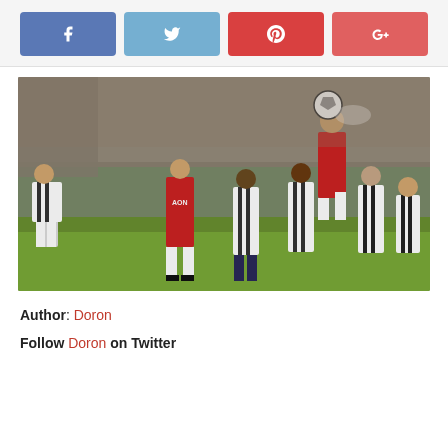[Figure (other): Social media share buttons: Facebook (blue), Twitter (light blue), Pinterest (red), Google+ (red-pink)]
[Figure (photo): Action photo of a football/soccer match. A player in a red Manchester United AON jersey jumps high to head the ball, surrounded by West Brom players in black-and-white striped shirts. Crowd filled stadium in background.]
Author: Doron
Follow Doron on Twitter